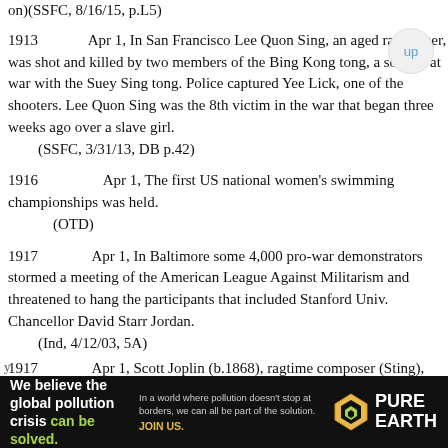on)(SSFC, 8/16/15, p.L5)
1913	Apr 1, In San Francisco Lee Quon Sing, an aged rag picker, was shot and killed by two members of the Bing Kong tong, a society at war with the Suey Sing tong. Police captured Yee Lick, one of the shooters. Lee Quon Sing was the 8th victim in the war that began three weeks ago over a slave girl.
	(SSFC, 3/31/13, DB p.42)
1916		Apr 1, The first US national women's swimming championships was held.
		(OTD)
1917		Apr 1, In Baltimore some 4,000 pro-war demonstrators stormed a meeting of the American League Against Militarism and threatened to hang the participants that included Stanford Univ. Chancellor David Starr Jordan.
	(Ind, 4/12/03, 5A)
1917		Apr 1, Scott Joplin (b.1868), ragtime composer (Sting), died of syphilis in a NY
[Figure (infographic): Advertisement banner for Pure Earth: 'We believe the global pollution crisis can be solved.' with tagline about pollution not stopping at borders and call to action 'JOIN US.' Logo shows Pure Earth diamond/triangle symbol in gold and green.]